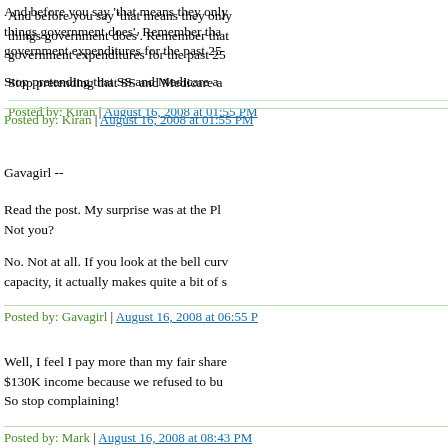And before you say 'that means they only things government does'. Remember that government expenditures for the past 25
Stop pretending that SS and Medicare a
Posted by: Kiran | August 16, 2008 at 01:55 PM
Gavagirl --
Read the post. My surprise was at the Pl Not you?
No. Not at all. If you look at the bell curve capacity, it actually makes quite a bit of s
Posted by: Gavagirl | August 16, 2008 at 06:55 PM
Well, I feel I pay more than my fair share $130K income because we refused to bu So stop complaining!
Posted by: Mark | August 16, 2008 at 08:43 PM